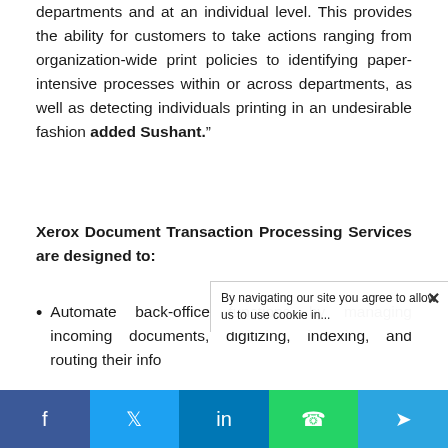departments and at an individual level. This provides the ability for customers to take actions ranging from organization-wide print policies to identifying paper-intensive processes within or across departments, as well as detecting individuals printing in an undesirable fashion added Sushant.”
Xerox Document Transaction Processing Services are designed to:
Automate back-office functions by managing incoming documents, digitizing, indexing, and routing their info...
[Figure (other): Cookie consent notice overlay in bottom-right corner reading: 'By navigating our site you agree to allow us to use cookie in...']
[Figure (other): Social sharing bar at bottom with buttons for Facebook, Twitter, LinkedIn, WhatsApp, and Telegram]